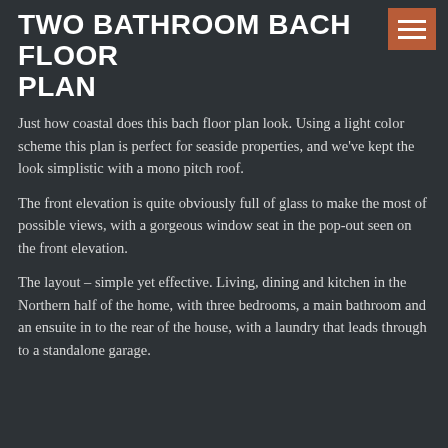TWO BATHROOM BACH FLOOR PLAN
Just how coastal does this bach floor plan look. Using a light color scheme this plan is perfect for seaside properties, and we've kept the look simplistic with a mono pitch roof.
The front elevation is quite obviously full of glass to make the most of possible views, with a gorgeous window seat in the pop-out seen on the front elevation.
The layout – simple yet effective. Living, dining and kitchen in the Northern half of the home, with three bedrooms, a main bathroom and an ensuite in to the rear of the house, with a laundry that leads through to a standalone garage.